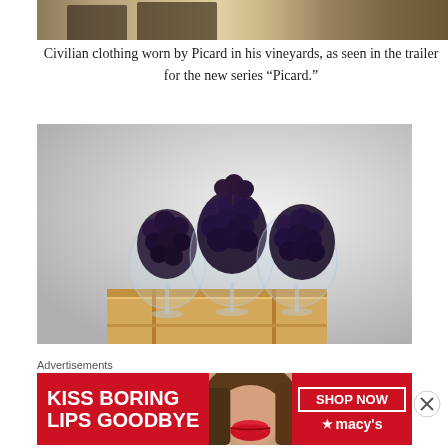[Figure (photo): Top portion of a photo showing Picard's civilian clothing worn in his vineyards, partial view of shoes/floor visible]
Civilian clothing worn by Picard in his vineyards, as seen in the trailer for the new series “Picard.”
[Figure (photo): Photo of three wine glasses filled with dark grapes, sitting on a wooden box/crate, against a light grey wall background]
Advertisements
[Figure (photo): Macy's advertisement banner reading 'KISS BORING LIPS GOODBYE' with SHOP NOW button and Macy's logo, featuring a woman with red lipstick]